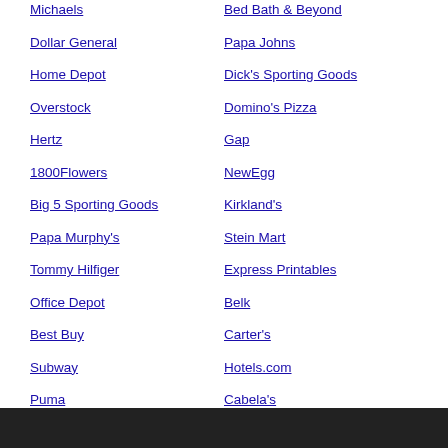Michaels
Dollar General
Home Depot
Overstock
Hertz
1800Flowers
Big 5 Sporting Goods
Papa Murphy's
Tommy Hilfiger
Office Depot
Best Buy
Subway
Puma
Petsmart
Bed Bath & Beyond
Papa Johns
Dick's Sporting Goods
Domino's Pizza
Gap
NewEgg
Kirkland's
Stein Mart
Express Printables
Belk
Carter's
Hotels.com
Cabela's
View All Stores